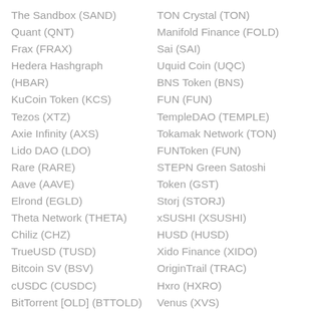The Sandbox (SAND)
Quant (QNT)
Frax (FRAX)
Hedera Hashgraph (HBAR)
KuCoin Token (KCS)
Tezos (XTZ)
Axie Infinity (AXS)
Lido DAO (LDO)
Rare (RARE)
Aave (AAVE)
Elrond (EGLD)
Theta Network (THETA)
Chiliz (CHZ)
TrueUSD (TUSD)
Bitcoin SV (BSV)
cUSDC (CUSDC)
BitTorrent [OLD] (BTTOLD)
Terra Classic USD (USTC)
TON Crystal (TON)
Manifold Finance (FOLD)
Sai (SAI)
Uquid Coin (UQC)
BNS Token (BNS)
FUN (FUN)
TempleDAO (TEMPLE)
Tokamak Network (TON)
FUNToken (FUN)
STEPN Green Satoshi Token (GST)
Storj (STORJ)
xSUSHI (XSUSHI)
HUSD (HUSD)
Xido Finance (XIDO)
OriginTrail (TRAC)
Hxro (HXRO)
Venus (XVS)
LUKSO (LYXE)